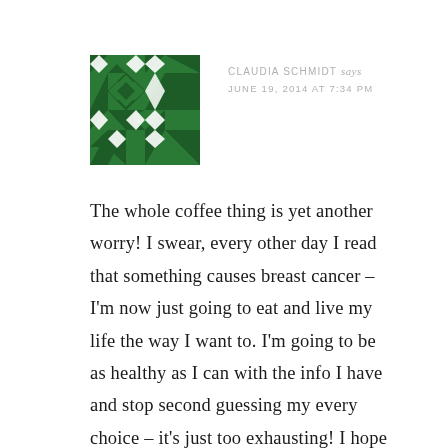[Figure (illustration): Green geometric quilt-pattern avatar image with star/diamond motifs on dark green background]
CLAUDIA SCHMIDT says
JUNE 19, 2014 AT 7:34 PM
The whole coffee thing is yet another worry! I swear, every other day I read that something causes breast cancer – I'm now just going to eat and live my life the way I want to. I'm going to be as healthy as I can with the info I have and stop second guessing my every choice – it's just too exhausting! I hope you find